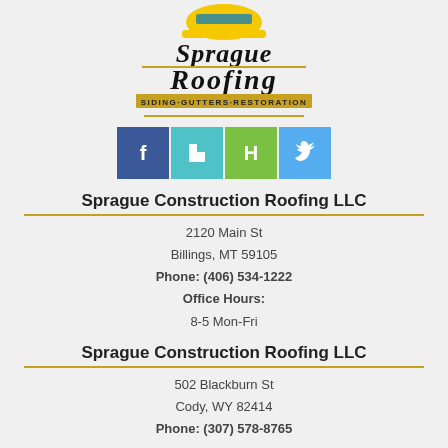[Figure (logo): Sprague Roofing logo with yellow hard hat graphic, bold black text 'Sprague Roofing' and tagline 'SIDING·GUTTERS·RESTORATION' in yellow banner]
[Figure (infographic): Four social media icon buttons: Facebook (blue), Houzz (light blue), Houzz/green, Twitter (light blue)]
Sprague Construction Roofing LLC
2120 Main St
Billings, MT 59105
Phone: (406) 534-1222
Office Hours:
8-5 Mon-Fri
Sprague Construction Roofing LLC
502 Blackburn St
Cody, WY 82414
Phone: (307) 578-8765